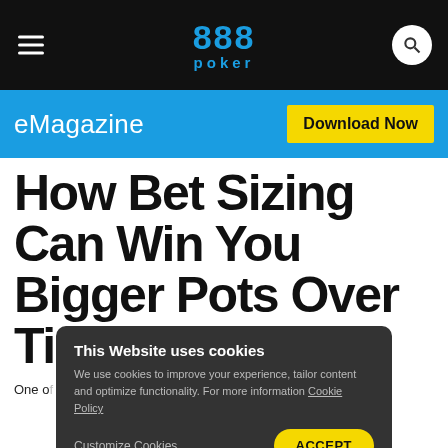888 poker
eMagazine
How Bet Sizing Can Win You Bigger Pots Over Time!
One of the most important skills that separates good poker players from great ones is knowing how to make correct decisions...
This Website uses cookies
We use cookies to improve your experience, tailor content and optimize functionality. For more information Cookie Policy
Customize Cookies.
ACCEPT